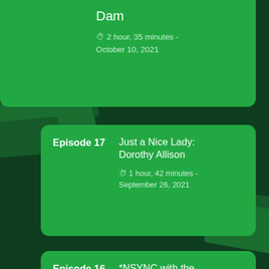[Figure (screenshot): Podcast episode listing app screenshot with dark green background and money bills graphic, showing three episode cards on a green card UI]
Dam
⏱ 2 hour, 35 minutes - October 10, 2021
Episode 17 — Just a Nice Lady: Dorothy Allison
⏱ 1 hour, 42 minutes - September 26, 2021
Episode 16 — *NSYNC with the Ponzi Scheme: Lou Pearlman (Part 2)
⏱ 1 hour, 39 minutes - September 12, 2021